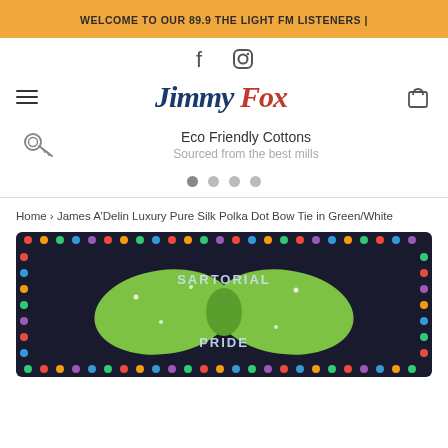WELCOME TO OUR 89.9 THE LIGHT FM LISTENERS |
[Figure (logo): Facebook and Instagram social media icons in dark grey]
[Figure (logo): Jimmy Fox brand logo in italic script, 'Jimmy' in dark blue, 'Fox' in red, with colorful dot above the 'i']
Eco Friendly Cottons
Sourced from the best mills
Home › James A'Delin Luxury Pure Silk Polka Dot Bow Tie in Green/White
[Figure (photo): Green polka dot bow tie on a dark background with colorful dots border, with text 'SARTORIAL PRIDE' partially visible]